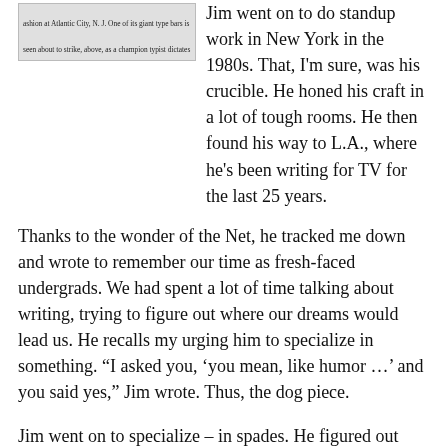[Figure (photo): Newspaper clipping image showing typewriter bars about to strike, with caption text about Atlantic City, N.J. and a champion typist challenging rivals.]
Jim went on to do standup work in New York in the 1980s. That, I'm sure, was his crucible. He honed his craft in a lot of tough rooms. He then found his way to L.A., where he's been writing for TV for the last 25 years.
Thanks to the wonder of the Net, he tracked me down and wrote to remember our time as fresh-faced undergrads. We had spent a lot of time talking about writing, trying to figure out where our dreams would lead us. He recalls my urging him to specialize in something. “I asked you, ‘you mean, like humor …’ and you said yes,” Jim wrote. Thus, the dog piece.
Jim went on to specialize – in spades. He figured out what fit him and pursued it, despite, I’m sure, huge challenges. His gambles and his stick-to-it-iveness paid off.